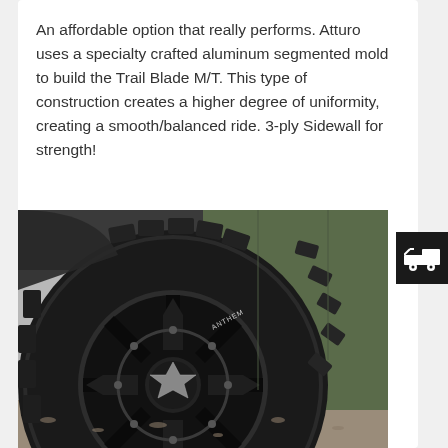An affordable option that really performs. Atturo uses a specialty crafted aluminum segmented mold to build the Trail Blade M/T. This type of construction creates a higher degree of uniformity, creating a smooth/balanced ride. 3-ply Sidewall for strength!
[Figure (photo): Close-up photo of a large black off-road mud terrain tire (Atturo Trail Blade M/T) mounted on a black Anthem wheel, fitted on a military green Jeep or 4x4 vehicle. The aggressive tread pattern and large lugs are visible, along with the 'ANTHEM' text on the wheel. Gravel ground visible at bottom.]